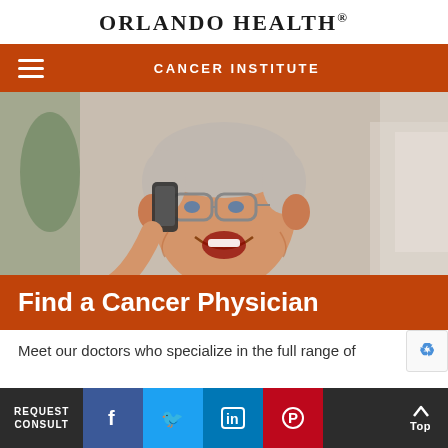Orlando Health®
Cancer Institute
[Figure (photo): Elderly man smiling and talking on a mobile phone, wearing a dark brown sweater, with a blurred indoor background]
Find a Cancer Physician
Meet our doctors who specialize in the full range of
REQUEST CONSULT | Facebook | Twitter | LinkedIn | Pinterest | Top